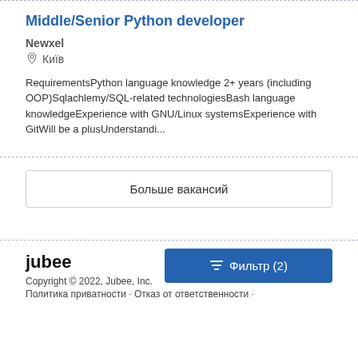Middle/Senior Python developer
Newxel
Київ
RequirementsPython language knowledge 2+ years (including OOP)Sqlachlemy/SQL-related technologiesBash language knowledgeExperience with GNU/Linux systemsExperience with GitWill be a plusUnderstandi...
Більше вакансий
jubee
Copyright © 2022, Jubee, Inc.
Політика приватності · Отказ от ответственности ·
Фильтр (2)